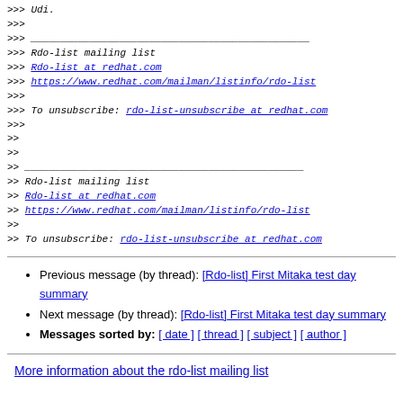>>> Udi.
>>>
>>> _______________________________________________
>>> Rdo-list mailing list
>>> Rdo-list at redhat.com
>>> https://www.redhat.com/mailman/listinfo/rdo-list
>>>
>>> To unsubscribe: rdo-list-unsubscribe at redhat.com
>>>
>>
>>
>> _______________________________________________
>> Rdo-list mailing list
>> Rdo-list at redhat.com
>> https://www.redhat.com/mailman/listinfo/rdo-list
>>
>> To unsubscribe: rdo-list-unsubscribe at redhat.com
Previous message (by thread): [Rdo-list] First Mitaka test day summary
Next message (by thread): [Rdo-list] First Mitaka test day summary
Messages sorted by: [ date ] [ thread ] [ subject ] [ author ]
More information about the rdo-list mailing list